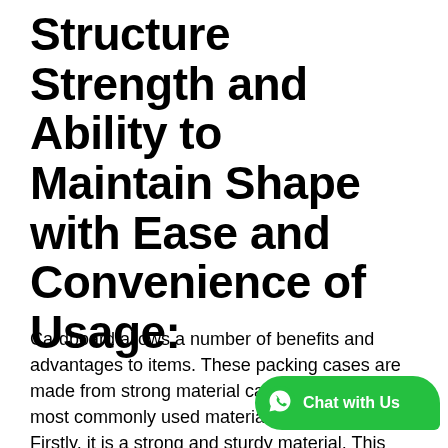Structure Strength and Ability to Maintain Shape with Ease and Convenience of Usage:
Cardboard allows a number of benefits and advantages to items. These packing cases are made from strong material categories. The most commonly used material is cardboard. Firstly, it is a strong and sturdy material. This is the reason why it allows maximum strength and s[...] the products. The boxes made from this material